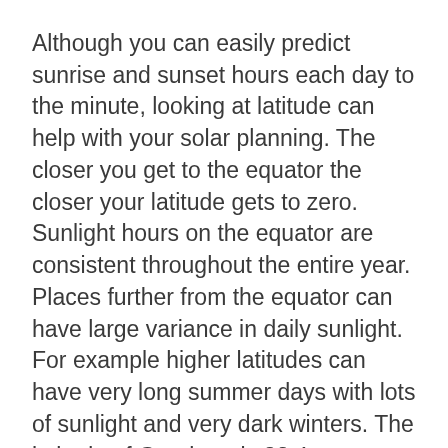Although you can easily predict sunrise and sunset hours each day to the minute, looking at latitude can help with your solar planning. The closer you get to the equator the closer your latitude gets to zero. Sunlight hours on the equator are consistent throughout the entire year. Places further from the equator can have large variance in daily sunlight. For example higher latitudes can have very long summer days with lots of sunlight and very dark winters. The latitude of Granbury is 32.4.
A tracking mount will increase the average peak sun hours for a solar power system. Think about a panel that is tracking the sun in the sky vs a panel that is fixed and not moving: you will see a higher efficiency ratio of productions. A 1-axis mount will